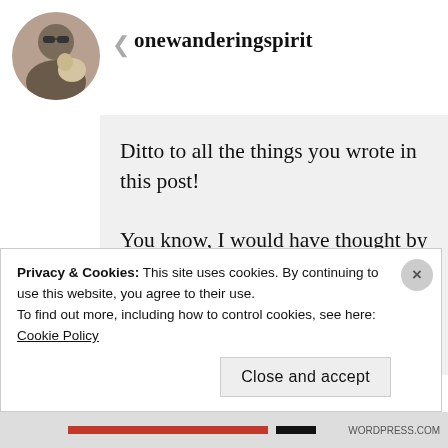[Figure (photo): Circular avatar photo of a person wearing sunglasses with a dog, displayed in the top-left corner of a social media comment]
onewanderingspirit
Ditto to all the things you wrote in this post!

You know, I would have thought by this stage in the game, I would have learned the moves...would have lost the anxiety, learned to trust Great
Privacy & Cookies: This site uses cookies. By continuing to use this website, you agree to their use.
To find out more, including how to control cookies, see here: Cookie Policy
Close and accept